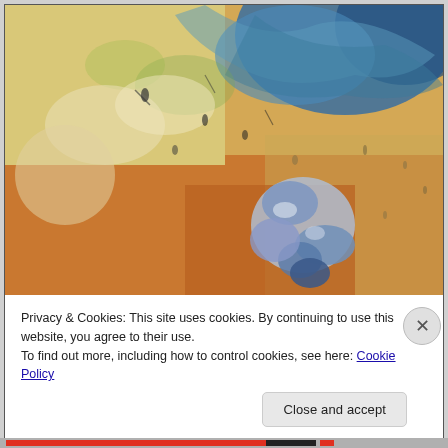[Figure (illustration): Abstract expressionist painting featuring a human figure curled in a fetal position in the lower center-right, rendered in blue-grey tones against a warm amber/orange background. The upper portion has swirling blues and greens suggesting sky or water. Loose gestural brushstrokes throughout with scattered dark marks.]
Privacy & Cookies: This site uses cookies. By continuing to use this website, you agree to their use.
To find out more, including how to control cookies, see here: Cookie Policy
Close and accept